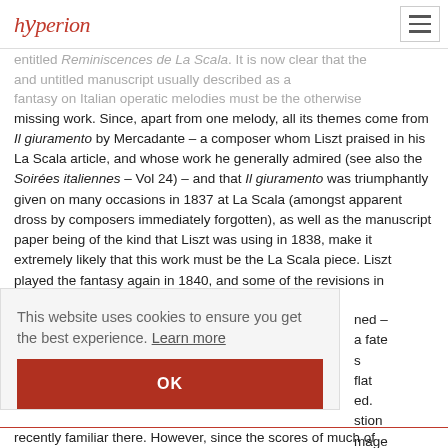hyperion
entitled Reminiscences de La Scala. It is now clear that the and untitled manuscript usually described as a fantasy on Italian operatic melodies must be the otherwise missing work. Since, apart from one melody, all its themes come from Il giuramento by Mercadante – a composer whom Liszt praised in his La Scala article, and whose work he generally admired (see also the Soirées italiennes – Vol 24) – and that Il giuramento was triumphantly given on many occasions in 1837 at La Scala (amongst apparent dross by composers immediately forgotten), as well as the manuscript paper being of the kind that Liszt was using in 1838, make it extremely likely that this work must be the La Scala piece. Liszt played the fantasy again in 1840, and some of the revisions in
ned – a fate s flat ed. stion mage l
This website uses cookies to ensure you get the best experience. Learn more
OK
recently familiar there. However, since the scores of much of